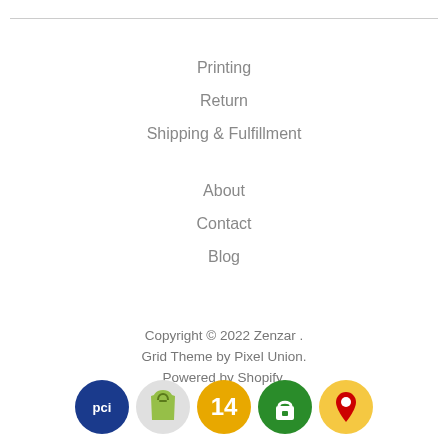Printing
Return
Shipping & Fulfillment
About
Contact
Blog
Copyright © 2022 Zenzar . Grid Theme by Pixel Union. Powered by Shopify.
[Figure (logo): Row of five circular badge icons: PCI (blue), Shopify bag (grey), 14 (gold), padlock (green), map pin (yellow/red)]